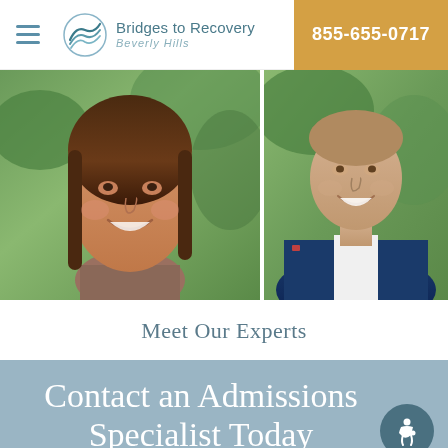Bridges to Recovery Beverly Hills | 855-655-0717
[Figure (photo): Two staff photos side by side: woman with long brown hair smiling outdoors with green foliage background (left), and man in navy blazer smiling outdoors (right)]
Meet Our Experts
Contact an Admissions Specialist Today
Admissions 855-655-0717